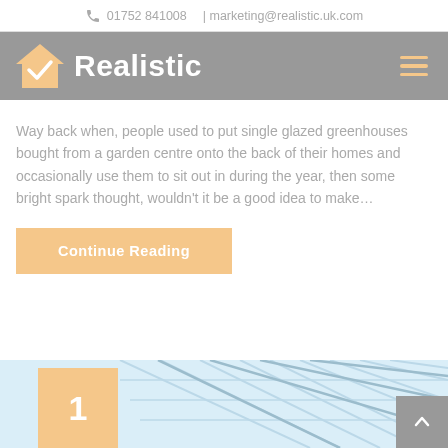01752 841008 | marketing@realistic.uk.com
[Figure (logo): Realistic company logo with house/checkmark icon and white bold text 'Realistic' on grey background with hamburger menu icon]
Way back when, people used to put single glazed greenhouses bought from a garden centre onto the back of their homes and occasionally use them to sit out in during the year, then some bright spark thought, wouldn't it be a good idea to make…
Continue Reading
[Figure (photo): Bottom partial view of a conservatory/greenhouse glass roof structure with blue sky, with an orange number '1' badge overlaid on the left side and a scroll-up button on the right]